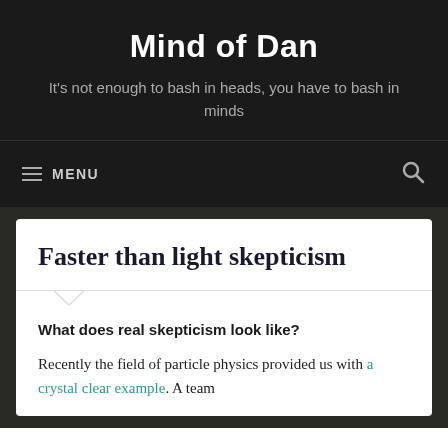Mind of Dan
It's not enough to bash in heads, you have to bash in minds
≡ MENU
Faster than light skepticism
What does real skepticism look like?
Recently the field of particle physics provided us with a crystal clear example. A team